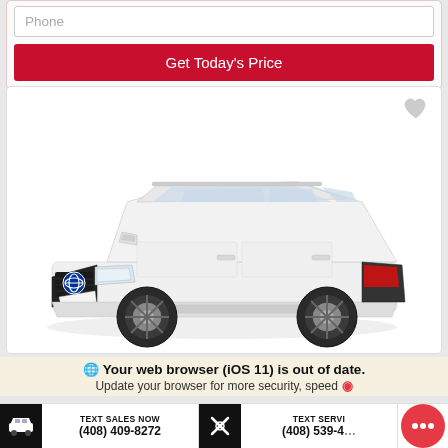Phone
Get Today's Price
[Figure (photo): White Toyota RAV4 Prime SUV product photo on white background with heart/favorite icon in top right corner]
🌐 Your web browser (iOS 11) is out of date. Update your browser for more security, speed...
TEXT SALES NOW
(408) 409-8272
TEXT SERVI...
(408) 539-4...